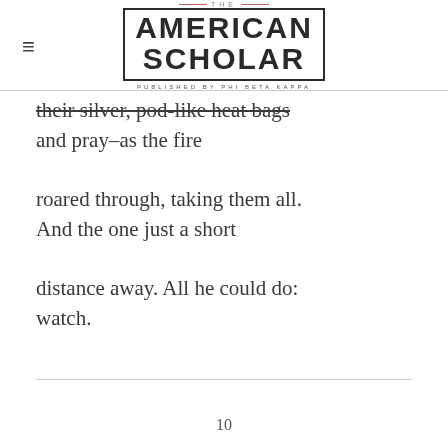THE AMERICAN SCHOLAR — PUBLISHED BY PHI BETA KAPPA
their silver, pod-like heat bags
and pray—as the fire

roared through, taking them all.
And the one just a short

distance away. All he could do:
watch.
10